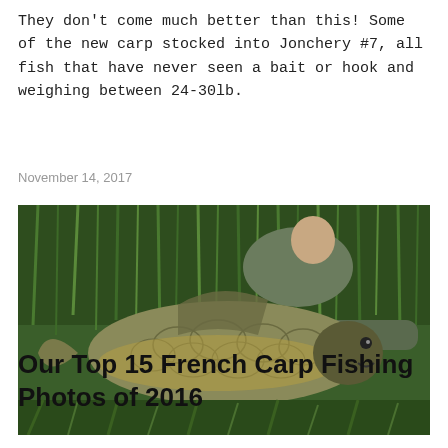They don't come much better than this! Some of the new carp stocked into Jonchery #7, all fish that have never seen a bait or hook and weighing between 24-30lb.
November 14, 2017
[Figure (photo): A man holding a large common carp fish in front of a background of tall green reeds and grass.]
Our Top 15 French Carp Fishing Photos of 2016